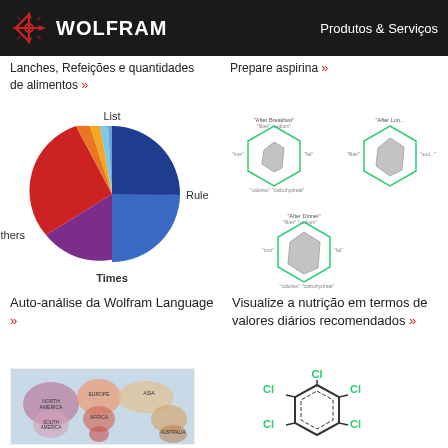WOLFRAM    Produtos & Serviços
Lanches, Refeições e quantidades de alimentos »
Prepare aspirina »
[Figure (pie-chart): Auto-análise da Wolfram Language]
[Figure (radar-chart): Nutrition radar charts showing After Breakfast, After Lunch, After Dinner values for fiber, sodium, iron, fat, calories, carbohydrates]
Auto-análise da Wolfram Language »
Visualize a nutrição em termos de valores diários recomendados »
[Figure (map): World map with colored regions showing geographic data]
[Figure (engineering-diagram): Chemical structure diagram showing chlorine-substituted benzene ring with Cl atoms]